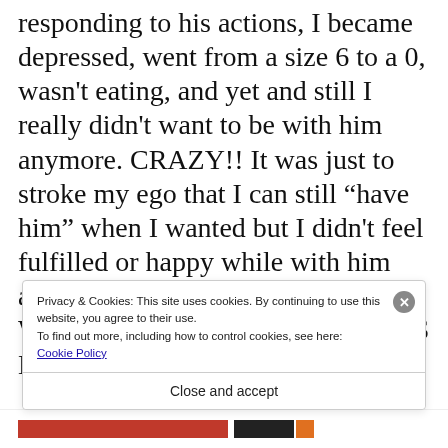responding to his actions, I became depressed, went from a size 6 to a 0, wasn't eating, and yet and still I really didn't want to be with him anymore. CRAZY!! It was just to stroke my ego that I can still “have him” when I wanted but I didn't feel fulfilled or happy while with him anymore. Out of the blue I realized WHY AM I ENTERTAINING THIS MAN SO MUCH? I
Privacy & Cookies: This site uses cookies. By continuing to use this website, you agree to their use.
To find out more, including how to control cookies, see here:
Cookie Policy
Close and accept